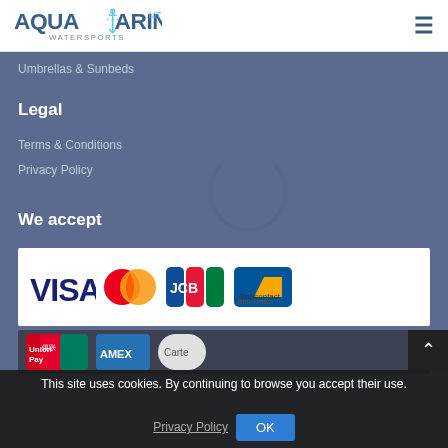[Figure (logo): Aquamarine Watersports .mt logo with anchor/trident icon in blue and teal]
≡
Umbrellas & Sunbeds
Legal
Terms & Conditions
Privacy Policy
We accept
[Figure (other): Payment method logos: Visa, Mastercard, JCB, Bancontact, UnionPay, Amex, (others), Carte Bancaire]
This site uses cookies. By continuing to browse you accept their use.
Privacy Policy
OK